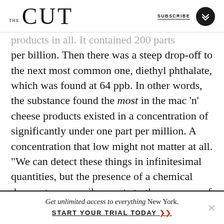THE CUT | SUBSCRIBE
products in all. It contained 200 parts per billion. Then there was a steep drop-off to the next most common one, diethyl phthalate, which was found at 64 ppb. In other words, the substance found the most in the mac ‘n’ cheese products existed in a concentration of significantly under one part per million. A concentration that low might not matter at all. “We can detect these things in infinitesimal quantities, but the presence of a chemical does not necessarily equate to the presence of risk,” said Schwarcz.
Get unlimited access to everything New York. START YOUR TRIAL TODAY »